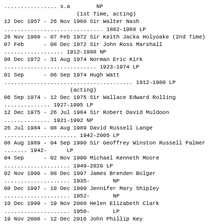................ s.a        NP
(1st Time, acting)
12 Dec 1957 - 26 Nov 1960 Sir Walter Nash
.............................. 1882-1968 LP
26 Nov 1960 - 07 Feb 1972 Sir Keith Jacka Holyoake (2nd Time)
07 Feb      - 08 Dec 1972 Sir John Ross Marshall
.................. 1912-1988 NP
08 Dec 1972 - 31 Aug 1974 Norman Eric Kirk
............................ 1923-1974 LP
01 Sep      - 06 Sep 1974 Hugh Watt
....................................... 1912-1980 LP
(acting)
06 Sep 1974 - 12 Dec 1975 Sir Wallace Edward Rolling
.............. 1927-1995 LP
12 Dec 1975 - 26 Jul 1984 Sir Robert David Muldoon
.............. 1921-1992 NP
26 Jul 1984 - 08 Aug 1989 David Russell Lange
...................... 1942-2005 LP
08 Aug 1989 - 04 Sep 1990 Sir Geoffrey Winston Russell Palmer ....... 1942-      LP
04 Sep      - 02 Nov 1990 Michael Kenneth Moore
.................... 1949-2020 LP
02 Nov 1990 - 08 Dec 1997 James Brenden Bolger
.................... 1935-       NP
08 Dec 1997 - 10 Dec 1999 Jennifer Mary Shipley
.................... 1952-       NP
10 Dec 1999 - 19 Nov 2008 Helen Elizabeth Clark
.................... 1950-       LP
19 Nov 2008 - 12 Dec 2016 John Phillip Key
...................... 1961-       NP
12 Dec 2016 - 26 Oct 2017 Simon William English